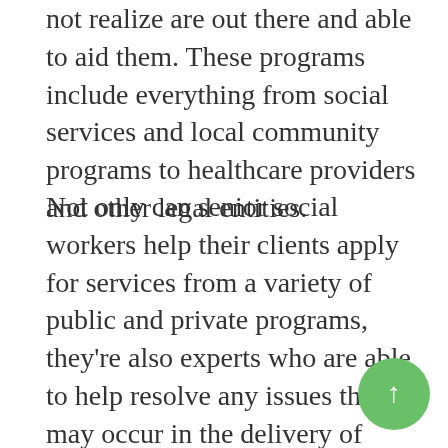not realize are out there and able to aid them. These programs include everything from social services and local community programs to healthcare providers and other legal entities.
Not only can senior social workers help their clients apply for services from a variety of public and private programs, they're also experts who are able to help resolve any issues that may occur in the delivery of those services, including social services and obtaining funding for elder care. A Social workers for seniors are able to direct older adults to a number of beneficial programs, such as helping seniors gain access to local senior transportation food delivery services like Meals